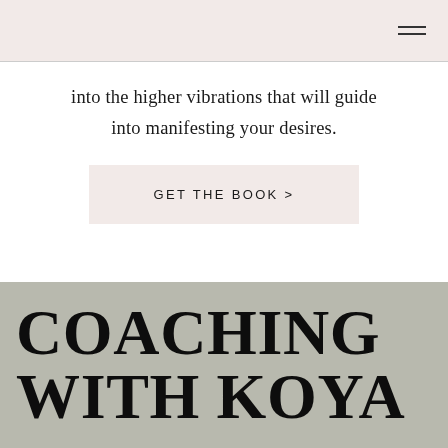into the higher vibrations that will guide into manifesting your desires.
GET THE BOOK >
COACHING WITH KOYA